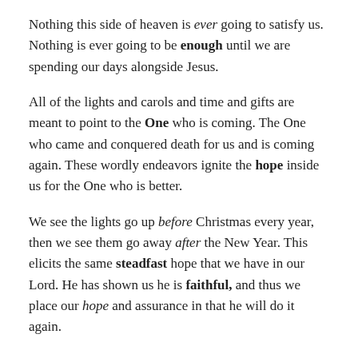Nothing this side of heaven is ever going to satisfy us. Nothing is ever going to be enough until we are spending our days alongside Jesus.
All of the lights and carols and time and gifts are meant to point to the One who is coming. The One who came and conquered death for us and is coming again. These wordly endeavors ignite the hope inside us for the One who is better.
We see the lights go up before Christmas every year, then we see them go away after the New Year. This elicits the same steadfast hope that we have in our Lord. He has shown us he is faithful, and thus we place our hope and assurance in that he will do it again.